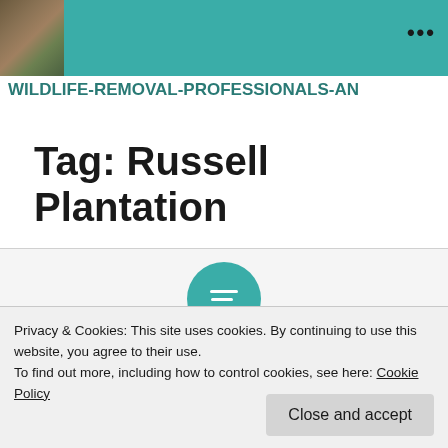WILDLIFE-REMOVAL-PROFESSIONALS-AN...
Tag: Russell Plantation
[Figure (other): Teal circle with horizontal lines icon (menu/content icon)]
Privacy & Cookies: This site uses cookies. By continuing to use this website, you agree to their use.
To find out more, including how to control cookies, see here: Cookie Policy
Close and accept